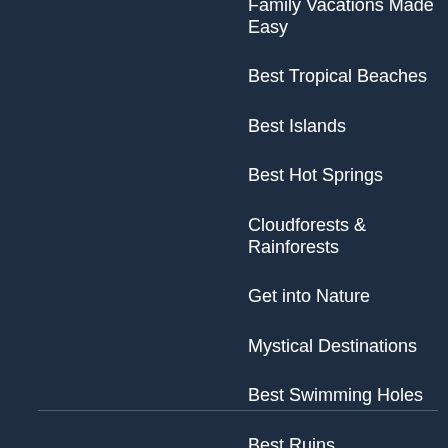Family Vacations Made Easy
Best Tropical Beaches
Best Islands
Best Hot Springs
Cloudforests & Rainforests
Get into Nature
Mystical Destinations
Best Swimming Holes
Best Ruins